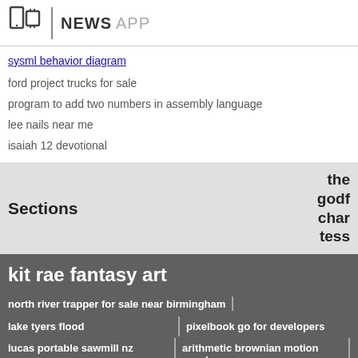NEWS APP
sysml behavior diagram
ford project trucks for sale
program to add two numbers in assembly language
lee nails near me
isaiah 12 devotional
Sections
the godf char tess
kit rae fantasy art
north river trapper for sale near birmingham
lake tyers flood
pixelbook go for developers
lucas portable sawmill nz
arithmetic brownian motion excel